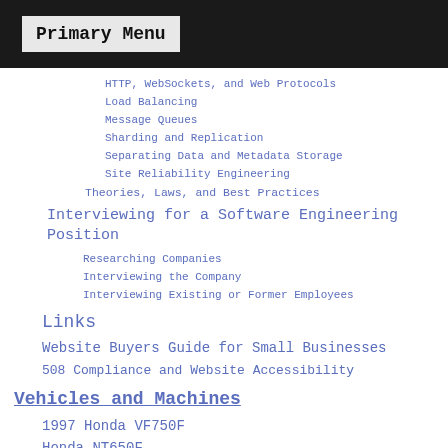Primary Menu
HTTP, WebSockets, and Web Protocols
Load Balancing
Message Queues
Sharding and Replication
Separating Data and Metadata Storage
Site Reliability Engineering
Theories, Laws, and Best Practices
Interviewing for a Software Engineering Position
Researching Companies
Interviewing the Company
Interviewing Existing or Former Employees
Links
Website Buyers Guide for Small Businesses
508 Compliance and Website Accessibility
Vehicles and Machines
1997 Honda VF750F
Honda NT650F